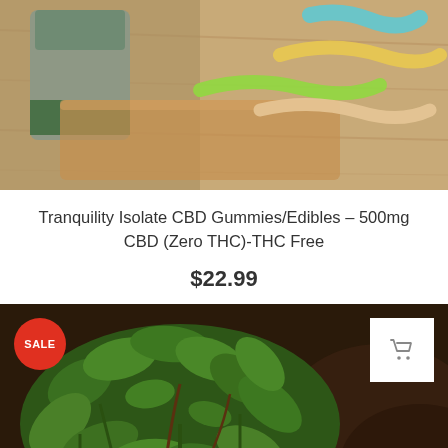[Figure (photo): Product photo showing colorful CBD gummy worms/edibles on a wooden board next to a grey/green product package bag]
Tranquility Isolate CBD Gummies/Edibles – 500mg CBD (Zero THC)-THC Free
$22.99
[Figure (photo): Photo of a green leafy plant (possibly kratom or hemp plant) with dark soil background, featuring a red SALE badge in top-left and a white cart button in top-right, and a grey back-to-top arrow button in bottom-right]